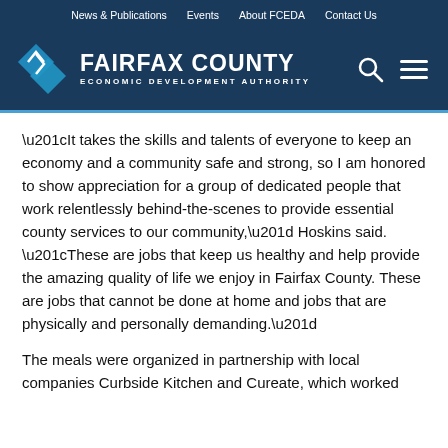News & Publications   Events   About FCEDA   Contact Us
[Figure (logo): Fairfax County Economic Development Authority logo with blue diamond graphic and white text on dark navy background, with search and menu icons on the right.]
“It takes the skills and talents of everyone to keep an economy and a community safe and strong, so I am honored to show appreciation for a group of dedicated people that work relentlessly behind-the-scenes to provide essential county services to our community,” Hoskins said. “These are jobs that keep us healthy and help provide the amazing quality of life we enjoy in Fairfax County. These are jobs that cannot be done at home and jobs that are physically and personally demanding.”
The meals were organized in partnership with local companies Curbside Kitchen and Cureate, which worked